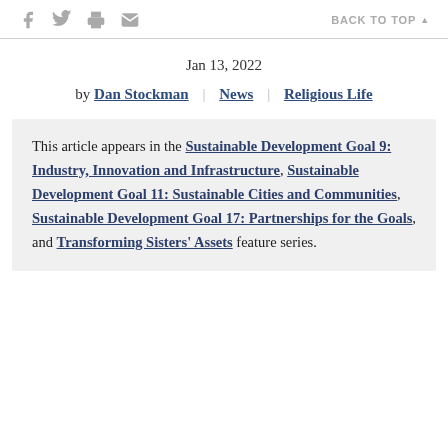f [twitter] [print] [email]   BACK TO TOP ▲
Jan 13, 2022
by Dan Stockman | News | Religious Life
This article appears in the Sustainable Development Goal 9: Industry, Innovation and Infrastructure, Sustainable Development Goal 11: Sustainable Cities and Communities, Sustainable Development Goal 17: Partnerships for the Goals, and Transforming Sisters' Assets feature series.